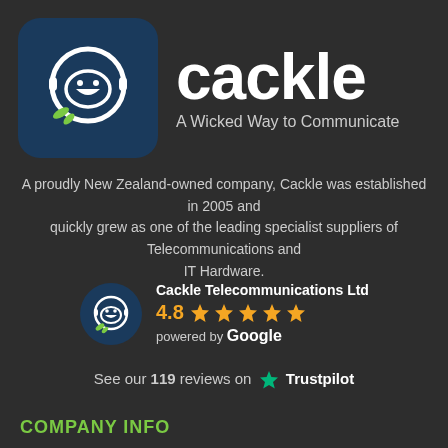[Figure (logo): Cackle app icon: dark blue rounded square with a white headset/speech bubble icon and green accent marks, alongside the Cackle brand name and tagline 'A Wicked Way to Communicate']
A proudly New Zealand-owned company, Cackle was established in 2005 and quickly grew as one of the leading specialist suppliers of Telecommunications and IT Hardware.
[Figure (infographic): Google review widget: Cackle icon, 'Cackle Telecommunications Ltd', rating 4.8 with 5 orange stars, powered by Google]
See our 119 reviews on ★ Trustpilot
COMPANY INFO